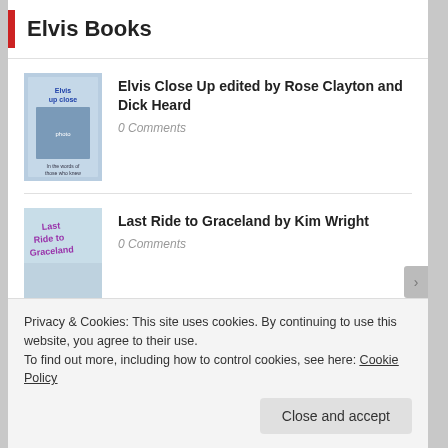Elvis Books
Elvis Close Up edited by Rose Clayton and Dick Heard
0 Comments
Last Ride to Graceland by Kim Wright
0 Comments
Last Train to Memphis: The Rise of Elvis Presley by Peter Guralnick
0 Comments
Privacy & Cookies: This site uses cookies. By continuing to use this website, you agree to their use.
To find out more, including how to control cookies, see here: Cookie Policy
Close and accept